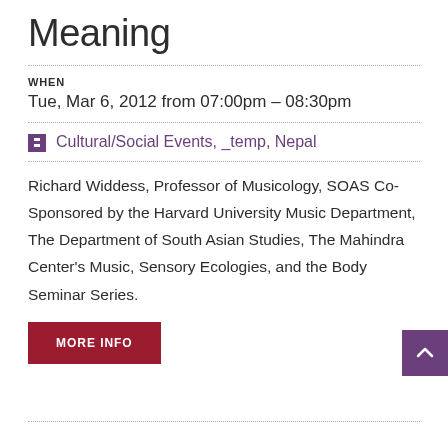Meaning
WHEN
Tue, Mar 6, 2012 from 07:00pm – 08:30pm
Cultural/Social Events, _temp, Nepal
Richard Widdess, Professor of Musicology, SOAS Co-Sponsored by the Harvard University Music Department, The Department of South Asian Studies, The Mahindra Center's Music, Sensory Ecologies, and the Body Seminar Series.
MORE INFO